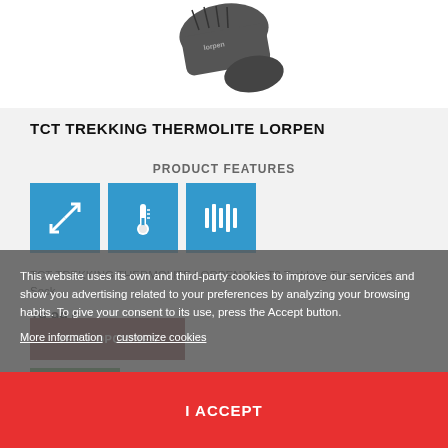[Figure (photo): Dark gray trekking sock, partial view showing toe/ankle area against white background]
TCT TREKKING THERMOLITE LORPEN
PRODUCT FEATURES
[Figure (infographic): Three blue square feature icons: resize/size icon (arrows), thermometer icon, and grip/tread pattern icon]
TCT TREKKING THERMOLITE LORPEN The T2 Trekking Thermolite® Sock...
19.99 €
VER + OPCIONES
In Stock
This website uses its own and third-party cookies to improve our services and show you advertising related to your preferences by analyzing your browsing habits. To give your consent to its use, press the Accept button.
More information   customize cookies
I ACCEPT